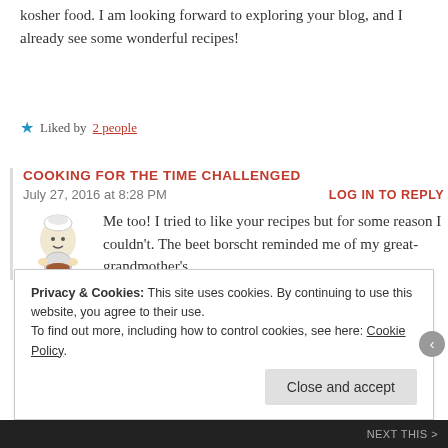kosher food. I am looking forward to exploring your blog, and I already see some wonderful recipes!
★ Liked by 2 people
COOKING FOR THE TIME CHALLENGED
July 27, 2016 at 8:28 PM
LOG IN TO REPLY
Me too! I tried to like your recipes but for some reason I couldn't. The beet borscht reminded me of my great-grandmother's.
Privacy & Cookies: This site uses cookies. By continuing to use this website, you agree to their use. To find out more, including how to control cookies, see here: Cookie Policy
Close and accept